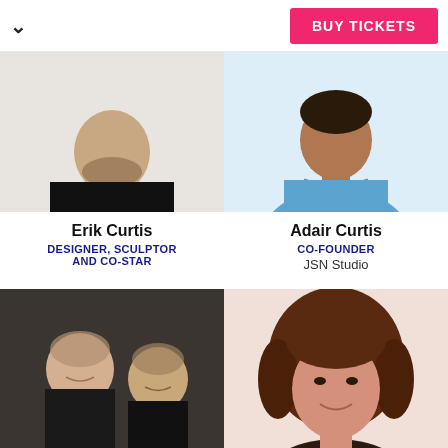BUY TICKETS
[Figure (photo): Photo of Erik Curtis from shoulders up, wearing black shirt, light background]
[Figure (photo): Photo of Adair Curtis from shoulders up, wearing blue polo shirt]
Erik Curtis
DESIGNER, SCULPTOR AND CO-STAR
Adair Curtis
CO-FOUNDER
JSN Studio
[Figure (photo): Photo of two men in dark clothing, posed together on dark background]
[Figure (photo): Photo of a woman with curly brown hair, smiling, close-up headshot]